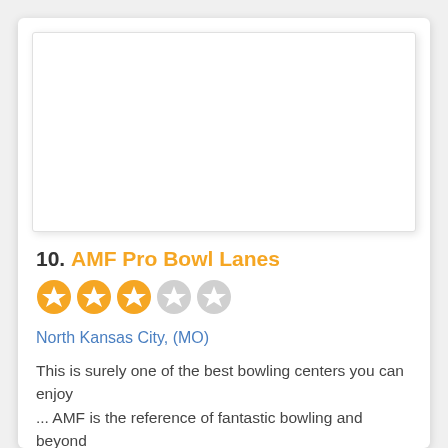[Figure (photo): White blank image placeholder for AMF Pro Bowl Lanes]
10. AMF Pro Bowl Lanes
[Figure (other): 3 out of 5 stars rating shown as orange filled circles and gray empty circles]
North Kansas City, (MO)
This is surely one of the best bowling centers you can enjoy ... AMF is the reference of fantastic bowling and beyond